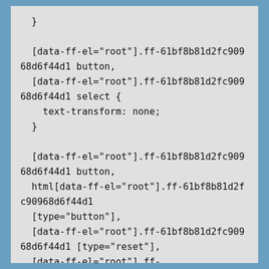}

[data-ff-el="root"].ff-61bf8b81d2fc90968d6f44d1 button,
  [data-ff-el="root"].ff-61bf8b81d2fc90968d6f44d1 select {
    text-transform: none;
  }

[data-ff-el="root"].ff-61bf8b81d2fc90968d6f44d1 button,
  html[data-ff-el="root"].ff-61bf8b81d2fc90968d6f44d1 [type="button"],
  [data-ff-el="root"].ff-61bf8b81d2fc90968d6f44d1 [type="reset"],
  [data-ff-el="root"].ff-